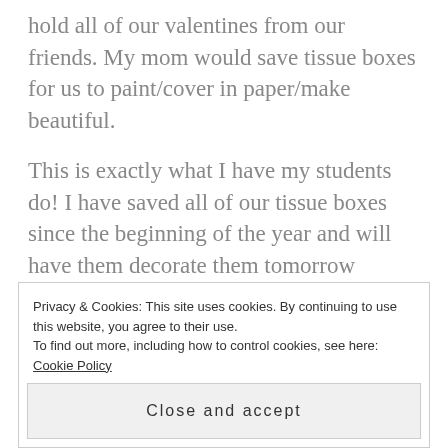hold all of our valentines from our friends. My mom would save tissue boxes for us to paint/cover in paper/make beautiful.
This is exactly what I have my students do! I have saved all of our tissue boxes since the beginning of the year and will have them decorate them tomorrow (Friday). Over the weekend their homework will be to make a valentine for each of their classmates (in Korea, they don't sell the cute and easy valentine's they have in the states) . I will give them paper and materials if they need them.
Privacy & Cookies: This site uses cookies. By continuing to use this website, you agree to their use. To find out more, including how to control cookies, see here: Cookie Policy
Close and accept